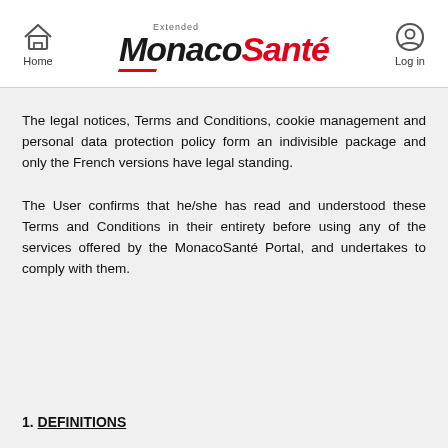Home  Extended MonacoSanté  Log in
The legal notices, Terms and Conditions, cookie management and personal data protection policy form an indivisible package and only the French versions have legal standing.
The User confirms that he/she has read and understood these Terms and Conditions in their entirety before using any of the services offered by the MonacoSanté Portal, and undertakes to comply with them.
1. DEFINITIONS